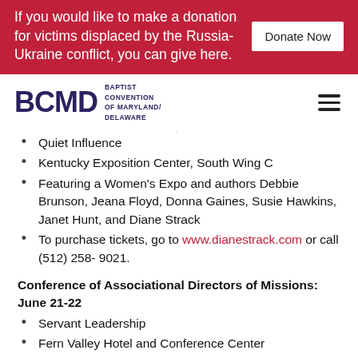If you would like to make a donation for victims displaced by the Russia-Ukraine conflict, you can give here. Donate Now
[Figure (logo): BCMD – Baptist Convention of Maryland/Delaware logo with hamburger menu icon]
Quiet Influence
Kentucky Exposition Center, South Wing C
Featuring a Women's Expo and authors Debbie Brunson, Jeana Floyd, Donna Gaines, Susie Hawkins, Janet Hunt, and Diane Strack
To purchase tickets, go to www.dianestrack.com or call (512) 258- 9021.
Conference of Associational Directors of Missions: June 21-22
Servant Leadership
Fern Valley Hotel and Conference Center
Featuring Ken Hemphill, Thom Rainer, O.S. Hawkins,